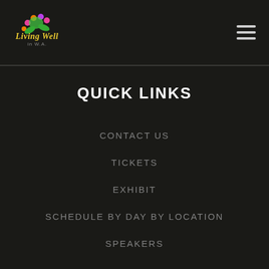[Figure (logo): Living Well in WA logo with colorful flower graphic and stylized text]
QUICK LINKS
CONTACT US
TICKETS
EXHIBIT
SCHEDULE BY DAY BY LOCATION
SPEAKERS